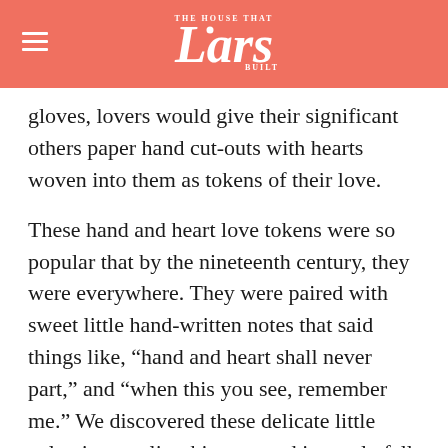[Figure (logo): The House That Lars Built logo on a coral/salmon colored banner background with hamburger menu icon on the left.]
gloves, lovers would give their significant others paper hand cut-outs with hearts woven into them as tokens of their love.
These hand and heart love tokens were so popular that by the nineteenth century, they were everywhere. They were paired with sweet little hand-written notes that said things like, “hand and heart shall never part,” and “when this you see, remember me.” We discovered these delicate little valentines earlier this year and instantly fell in love. We made our own versions, and it turns out they’re still the